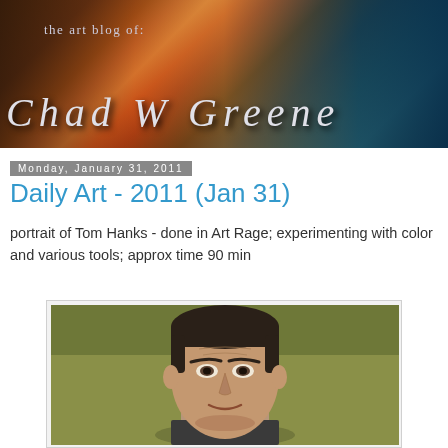[Figure (photo): Blog header banner for 'the art blog of: Chad W Greene' showing art supplies scattered on a table with colorful paints and tools, dark artistic background with large stylized text]
Monday, January 31, 2011
Daily Art - 2011 (Jan 31)
portrait of Tom Hanks - done in Art Rage; experimenting with color and various tools; approx time 90 min
[Figure (illustration): Digital portrait painting of Tom Hanks done in Art Rage software, showing his face and upper body against a green/olive background, dark hair, realistic painting style]